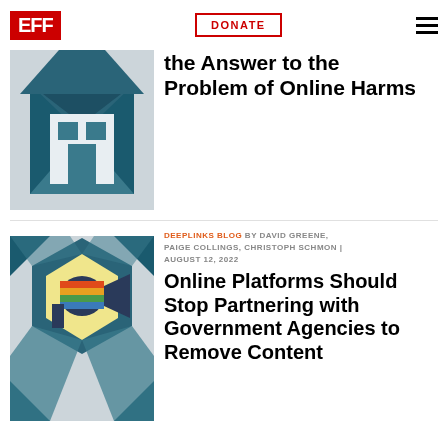EFF | DONATE | menu
[Figure (illustration): EFF logo with house/envelope graphic in teal and dark blue tones]
DAVID GREENE, AUGUST 16, 2022
General AI Monitoring is not the Answer to the Problem of Online Harms
[Figure (illustration): Megaphone/speaker graphic in a hexagon shape with colorful stripes on yellow background, dark teal geometric shapes around it]
DEEPLINKS BLOG BY DAVID GREENE, PAIGE COLLINGS, CHRISTOPH SCHMON | AUGUST 12, 2022
Online Platforms Should Stop Partnering with Government Agencies to Remove Content